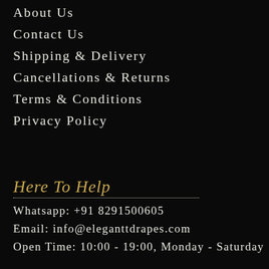About Us
Contact Us
Shipping & Delivery
Cancellations & Returns
Terms & Conditions
Privacy Policy
Here To Help
Whatsapp: +91 8291500605
Email: info@eleganttdrapes.com
Open Time: 10:00 - 19:00, Monday - Saturday